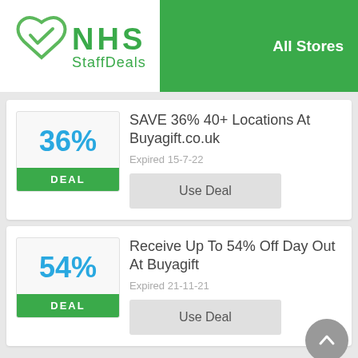[Figure (logo): NHS StaffDeals logo — green heart with checkmark and NHS StaffDeals text]
All Stores
36%
DEAL
SAVE 36% 40+ Locations At Buyagift.co.uk
Expired 15-7-22
Use Deal
54%
DEAL
Receive Up To 54% Off Day Out At Buyagift
Expired 21-11-21
Use Deal